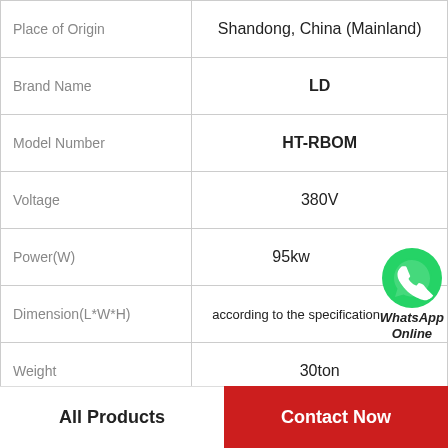| Property | Value |
| --- | --- |
| Place of Origin | Shandong, China (Mainland) |
| Brand Name | LD |
| Model Number | HT-RBOM |
| Voltage | 380V |
| Power(W) | 95kw |
| Dimension(L*W*H) | according to the specification |
| Weight | 30ton |
| Certification | ISO9001,BV |
|  |  |
[Figure (illustration): WhatsApp Online button with green phone icon]
All Products
Contact Now